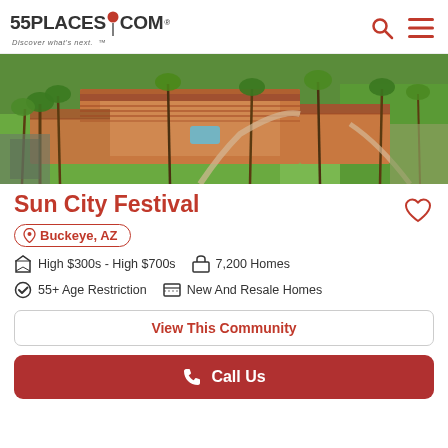55PLACES.COM — Discover what's next.
[Figure (photo): Aerial view of Sun City Festival community buildings with terra cotta roofs surrounded by palm trees and green landscaping in Arizona desert setting]
Sun City Festival
Buckeye, AZ
High $300s - High $700s   7,200 Homes
55+ Age Restriction   New And Resale Homes
View This Community
Call Us